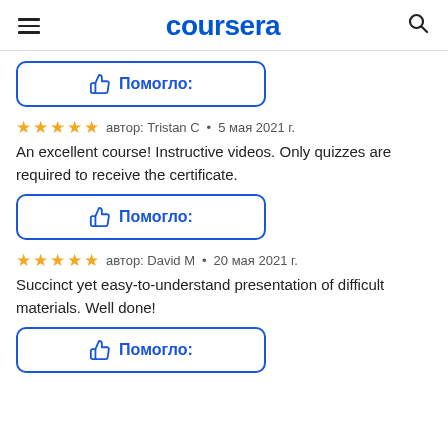coursera
[Figure (other): Helped/Помогло button with thumbs up icon and border]
автор: Tristan C · 5 мая 2021 г.
An excellent course! Instructive videos. Only quizzes are required to receive the certificate.
[Figure (other): Helped/Помогло button with thumbs up icon and border]
автор: David M · 20 мая 2021 г.
Succinct yet easy-to-understand presentation of difficult materials. Well done!
[Figure (other): Helped/Помогло button with thumbs up icon and border]